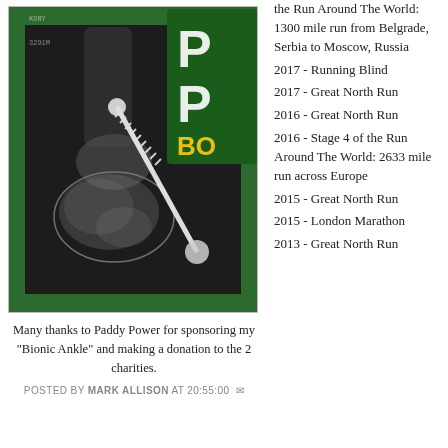[Figure (photo): X-ray image of an ankle with a surgical screw/implant visible, alongside a partial view of a Paddy Power branded item (green with white and yellow text 'P' and 'BO')]
Many thanks to Paddy Power for sponsoring my "Bionic Ankle" and making a donation to the 2 charities.
POSTED BY MARK ALLISON AT 20:55:00
the Run Around The World: 1300 mile run from Belgrade, Serbia to Moscow, Russia
2017 - Running Blind
2017 - Great North Run
2016 - Great North Run
2016 - Stage 4 of the Run Around The World: 2633 mile run across Europe
2015 - Great North Run
2015 - London Marathon
2013 - Great North Run